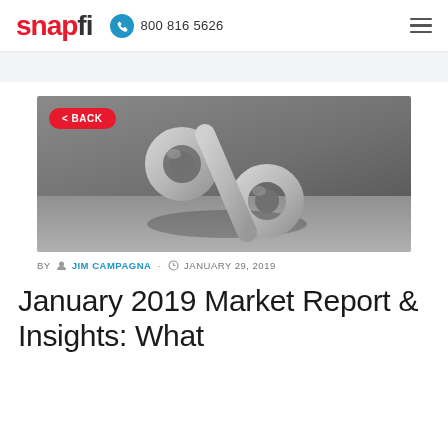snapfi  800 816 5626
[Figure (photo): A large metallic percent sign (%) symbol on a gray background, styled as a 3D stone or concrete object on a gray surface. A red rounded 'back' button with '< BACK' text overlays the top-left of the image.]
BY  JIM CAMPAGNA - JANUARY 29, 2019
January 2019 Market Report & Insights: What